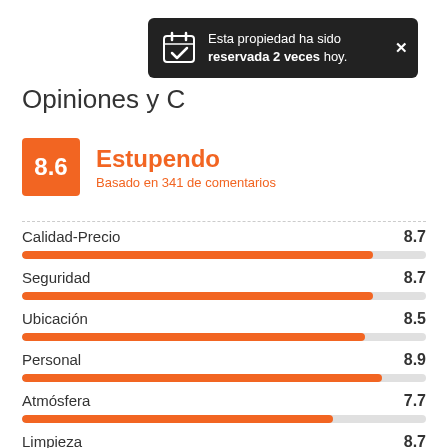[Figure (infographic): Dark tooltip popup: calendar icon with checkmark, text 'Esta propiedad ha sido reservada 2 veces hoy.' with close X button]
Opiniones y C…
8.6 Estupendo
Basado en 341 de comentarios
[Figure (bar-chart): Category ratings]